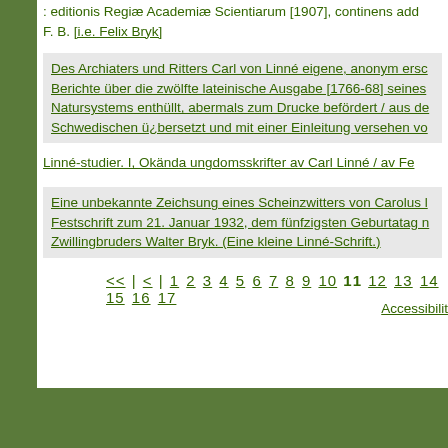: editionis Regiæ Academiæ Scientiarum [1907], continens add... F. B. [i.e. Felix Bryk]
Des Archiaters und Ritters Carl von Linné eigene, anonym ersc... Berichte über die zwölfte lateinische Ausgabe [1766-68] seines Natursystems enthüllt, abermals zum Drucke befördert / aus de... Schwedischen ü¿bersetzt und mit einer Einleitung versehen vo...
Linné-studier. I, Okända ungdomsskrifter av Carl Linné / av Fe...
Eine unbekannte Zeichsung eines Scheinzwitters von Carolus l... Festschrift zum 21. Januar 1932, dem fünfzigsten Geburtatag n... Zwillingbruders Walter Bryk. (Eine kleine Linné-Schrift.)
<< | < | 1 2 3 4 5 6 7 8 9 10 11 12 13 14 15 16 17
Accessibility...